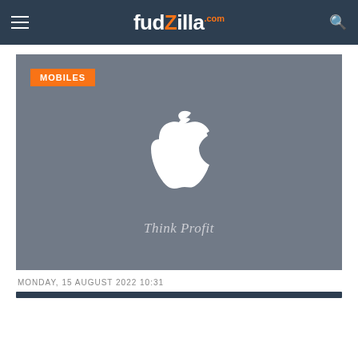fudzilla.com
[Figure (screenshot): Gray background image with white Apple logo and text 'Think Profit', with an orange 'MOBILES' badge in the top left corner.]
MONDAY, 15 AUGUST 2022 10:31